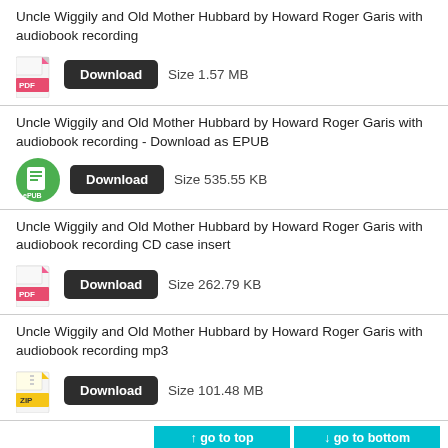Uncle Wiggily and Old Mother Hubbard by Howard Roger Garis with audiobook recording — Download Size 1.57 MB
Uncle Wiggily and Old Mother Hubbard by Howard Roger Garis with audiobook recording - Download as EPUB — Download Size 535.55 KB
Uncle Wiggily and Old Mother Hubbard by Howard Roger Garis with audiobook recording CD case insert — Download Size 262.79 KB
Uncle Wiggily and Old Mother Hubbard by Howard Roger Garis with audiobook recording mp3 — Download Size 101.48 MB
VIEW MORE